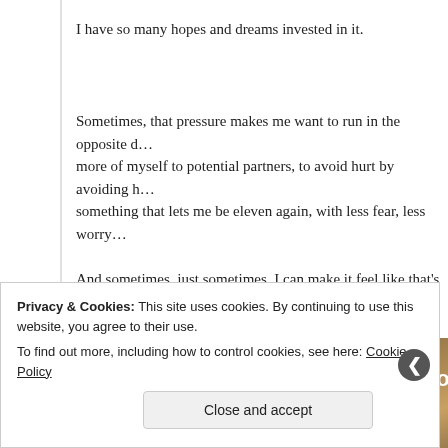I have so many hopes and dreams invested in it.
Sometimes, that pressure makes me want to run in the opposite d… more of myself to potential partners, to avoid hurt by avoiding h… something that lets me be eleven again, with less fear, less worry…
And sometimes, just sometimes, I can make it feel like that's true…
[Figure (screenshot): Music video thumbnail for Take That - A Million Love Songs, showing the band logo (orange circle with T symbol) on a dark background on the left, and the title text 'Take That - A Million Love Songs' in white on a sepia-toned background with a person's silhouette on the right.]
Privacy & Cookies: This site uses cookies. By continuing to use this website, you agree to their use.
To find out more, including how to control cookies, see here: Cookie Policy

Close and accept